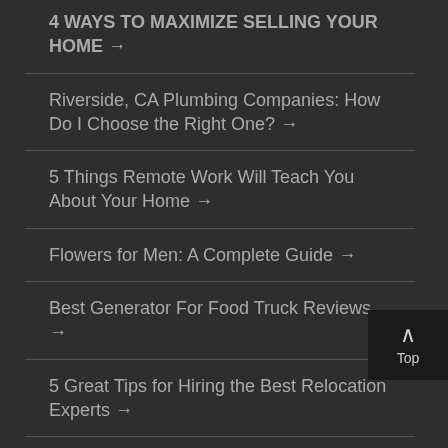4 WAYS TO MAXIMIZE SELLING YOUR HOME →
Riverside, CA Plumbing Companies: How Do I Choose the Right One? →
5 Things Remote Work Will Teach You About Your Home →
Flowers for Men: A Complete Guide →
Best Generator For Food Truck Reviews →
5 Great Tips for Hiring the Best Relocation Experts →
How to Become a Model: A Complete Guide →